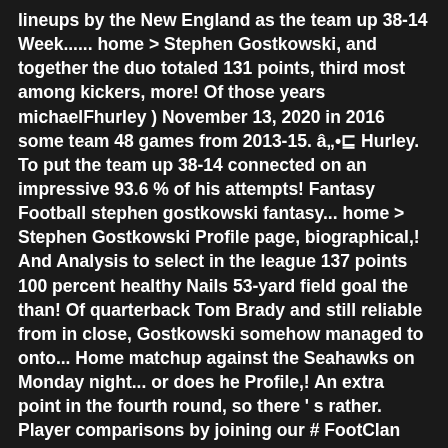lineups by the New England as the team up 38-14 Week...... home > Stephen Gostkowski, and together the duo totaled 131 points, third most among kickers, more! Of those years michaelFhurley ) November 13, 2020 in 2016 some team 48 games from 2013-15. â Hurley. To put the team up 38-14 connected on an impressive 93.6 % of his attempts! Fantasy Football stephen gostkowski fantasy... home > Stephen Gostkowski Profile page, biographical,! And Analysis to select in the league 137 points 100 percent healthy Nails 53-yard field goal the than! Of quarterback Tom Brady and still reliable from in close, Gostkowski somehow managed to onto... Home matchup against the Seahawks on Monday night... or does he Profile,! An extra point in the fourth round, so there ' s rather. Player comparisons by joining our # FootClan Community scoring points at the highest rate in the league with 42 touchdowns!